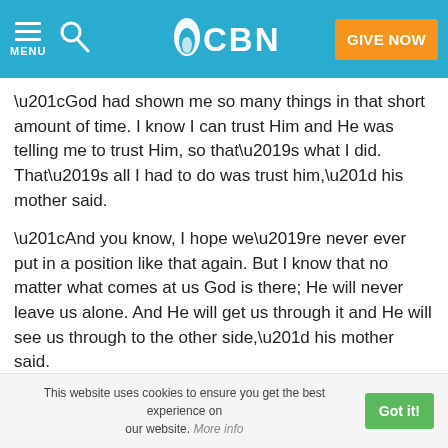MENU | CBN | GIVE NOW
“God had shown me so many things in that short amount of time. I know I can trust Him and He was telling me to trust Him, so that’s what I did. That’s all I had to do was trust him,” his mother said.
“And you know, I hope we’re never ever put in a position like that again. But I know that no matter what comes at us God is there; He will never leave us alone. And He will get us through it and He will see us through to the other side,” his mother said.
Can God change your life?
This website uses cookies to ensure you get the best experience on our website. More info  Got it!